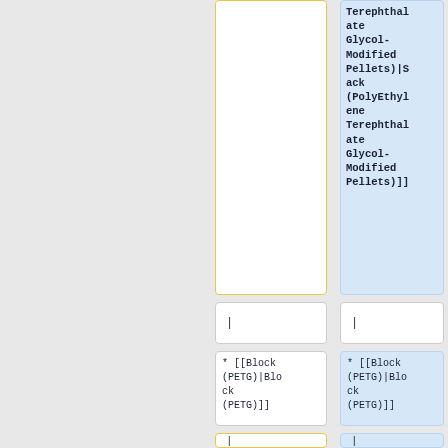|  | Terephthalate Glycol-Modified Pellets)|Sack (PolyEthylene Terephthalate Glycol-Modified Pellets)]] |
|  | | | | |
|  | * [[Block (PETG)|Block (PETG)]] | * [[Block (PETG)|Block (PETG)]] |
|  | | | | |